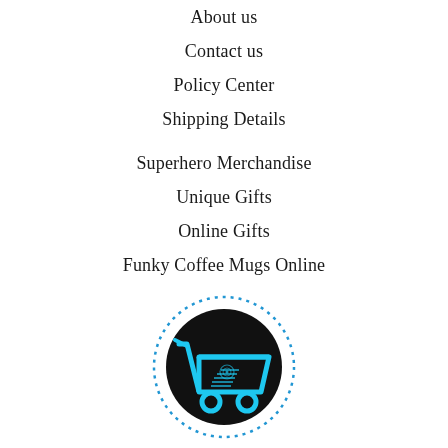About us
Contact us
Policy Center
Shipping Details
Superhero Merchandise
Unique Gifts
Online Gifts
Funky Coffee Mugs Online
[Figure (logo): Shopping cart logo with blue circuit-themed cart icon on black circular background with dotted blue ring border]
Facebook
Twitter